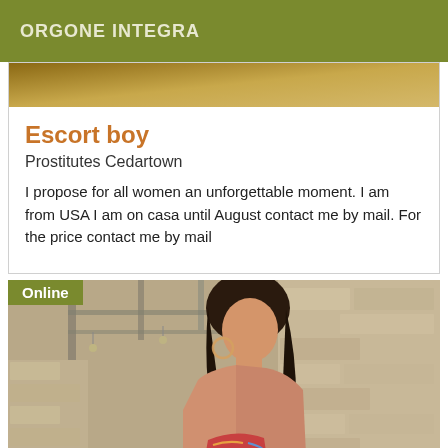ORGONE INTEGRA
Escort boy
Prostitutes Cedartown
I propose for all women an unforgettable moment. I am from USA I am on casa until August contact me by mail. For the price contact me by mail
[Figure (photo): Photo of a young woman with long dark hair, wearing a bikini top, standing against a stone wall background with a covered patio structure. An 'Online' badge appears in the top-left corner.]